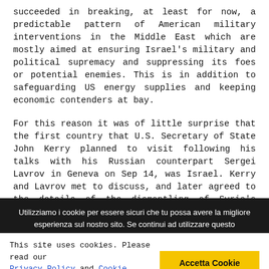succeeded in breaking, at least for now, a predictable pattern of American military interventions in the Middle East which are mostly aimed at ensuring Israel's military and political supremacy and suppressing its foes or potential enemies. This is in addition to safeguarding US energy supplies and keeping economic contenders at bay.
For this reason it was of little surprise that the first country that U.S. Secretary of State John Kerry planned to visit following his talks with his Russian counterpart Sergei Lavrov in Geneva on Sep 14, was Israel. Kerry and Lavrov met to discuss, and later agreed to the details of the dismantling of Syria's chemical weapons arsenal, which was understood as the only viable way to avert a US military strike. The proposal was fully Russian, thus Putin's public relations campaign, and his NYT article. The US, alienated after years of warmongering, had to accept the Russian proposal. Any other option would have had
Utilizziamo i cookie per essere sicuri che tu possa avere la migliore esperienza sul nostro sito. Se continui ad utilizzare questo
This site uses cookies. Please read our Privacy Policy and Cookie Policy